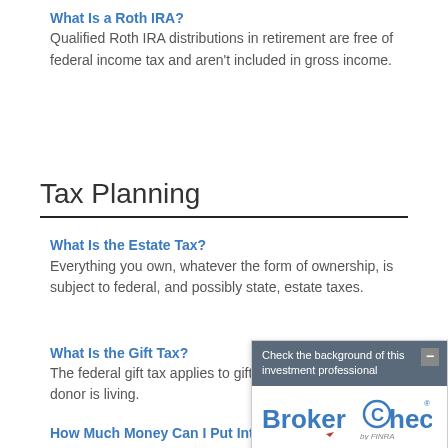What Is a Roth IRA?
Qualified Roth IRA distributions in retirement are free of federal income tax and aren't included in gross income.
Tax Planning
What Is the Estate Tax?
Everything you own, whatever the form of ownership, is subject to federal, and possibly state, estate taxes.
What Is the Gift Tax?
The federal gift tax applies to gifts of money while the donor is living.
[Figure (screenshot): BrokerCheck overlay widget showing 'Check the background of this investment professional' with BrokerCheck by FINRA logo]
How Much Money Can I Put Into My IRA or